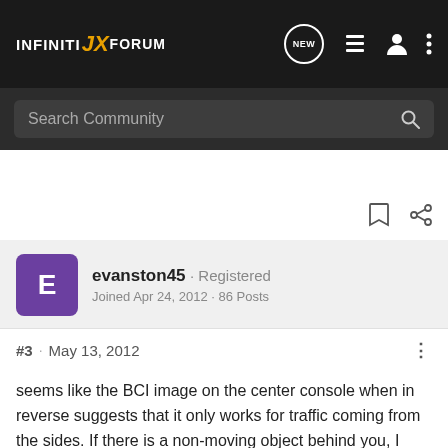INFINITI JX FORUM
Search Community
evanston45 · Registered
Joined Apr 24, 2012 · 86 Posts
#3 · May 13, 2012
seems like the BCI image on the center console when in reverse suggests that it only works for traffic coming from the sides. If there is a non-moving object behind you, I don't think it will stop...am I wrong?